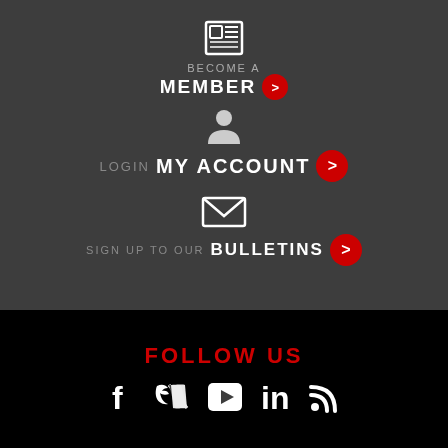[Figure (infographic): Newspaper icon above BECOME A MEMBER button with red arrow circle]
BECOME A MEMBER >
[Figure (infographic): User/person icon above LOGIN MY ACCOUNT button with red arrow circle]
LOGIN MY ACCOUNT >
[Figure (infographic): Envelope/mail icon above SIGN UP TO OUR BULLETINS button with red arrow circle]
SIGN UP TO OUR BULLETINS >
FOLLOW US
[Figure (infographic): Social media icons: Facebook, Twitter, YouTube, LinkedIn, RSS]